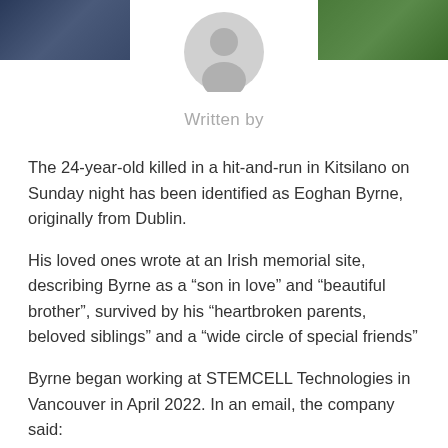[Figure (photo): A photo strip at the top showing left side with a person in dark clothing and right side with green foliage; center has a circular gray avatar/placeholder icon with a person silhouette.]
Written by
The 24-year-old killed in a hit-and-run in Kitsilano on Sunday night has been identified as Eoghan Byrne, originally from Dublin.
His loved ones wrote at an Irish memorial site, describing Byrne as a “son in love” and “beautiful brother”, survived by his “heartbroken parents, beloved siblings” and a “wide circle of special friends”
Byrne began working at STEMCELL Technologies in Vancouver in April 2022. In an email, the company said:
“Those of us who were fortunate enough to work with Eoghan quickly grew close to him during his short time with